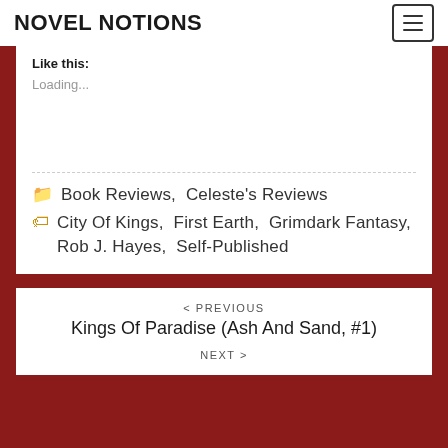NOVEL NOTIONS
Like this:
Loading...
Book Reviews, Celeste's Reviews
City Of Kings, First Earth, Grimdark Fantasy, Rob J. Hayes, Self-Published
< PREVIOUS
Kings Of Paradise (Ash And Sand, #1)
NEXT >